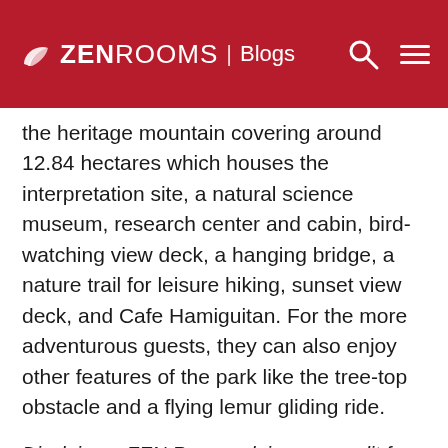ZEN ROOMS | Blogs
the heritage mountain covering around 12.84 hectares which houses the interpretation site, a natural science museum, research center and cabin, bird-watching view deck, a hanging bridge, a nature trail for leisure hiking, sunset view deck, and Cafe Hamiguitan. For the more adventurous guests, they can also enjoy other features of the park like the tree-top obstacle and a flying lemur gliding ride.
Disclaimer: ZEN Rooms claims no credit for images featured on our blog site unless otherwise noted. All visual content is copyrighted to its respectful owners. We try to link back to original sources whenever possible. If you own the rights to any of